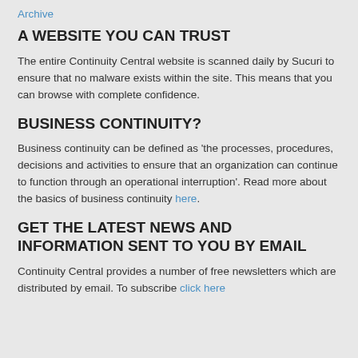Archive
A WEBSITE YOU CAN TRUST
The entire Continuity Central website is scanned daily by Sucuri to ensure that no malware exists within the site. This means that you can browse with complete confidence.
BUSINESS CONTINUITY?
Business continuity can be defined as 'the processes, procedures, decisions and activities to ensure that an organization can continue to function through an operational interruption'. Read more about the basics of business continuity here.
GET THE LATEST NEWS AND INFORMATION SENT TO YOU BY EMAIL
Continuity Central provides a number of free newsletters which are distributed by email. To subscribe click here.